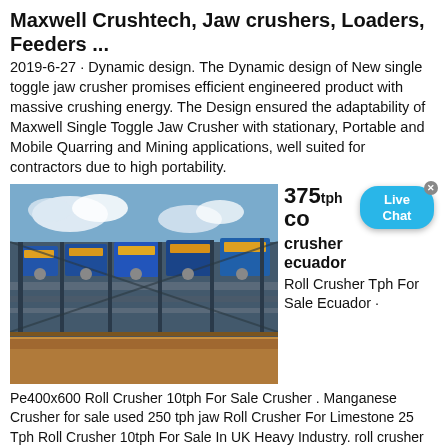Maxwell Crushtech, Jaw crushers, Loaders, Feeders ...
2019-6-27 · Dynamic design. The Dynamic design of New single toggle jaw crusher promises efficient engineered product with massive crushing energy. The Design ensured the adaptability of Maxwell Single Toggle Jaw Crusher with stationary, Portable and Mobile Quarring and Mining applications, well suited for contractors due to high portability.
[Figure (photo): Large industrial mining crusher and conveyor belt facility outdoors under blue sky]
375 tph
co
crusher ecuador
Roll Crusher Tph For Sale Ecuador ·
Pe400x600 Roll Crusher 10tph For Sale Crusher . Manganese Crusher for sale used 250 tph jaw Roll Crusher For Limestone 25 Tph Roll Crusher 10tph For Sale In UK Heavy Industry. roll crusher 10tph for sale ecuador coal vertical mill roll crusher 10tph for sale city sale texas music de pictures florida